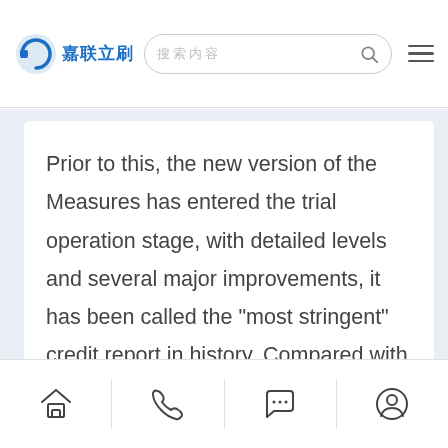嘉联立刷 [search bar] [menu icon]
Prior to this, the new version of the Measures has entered the trial operation stage, with detailed levels and several major improvements, it has been called the "most stringent" credit report in history. Compared with the previous version of the personal credit report, the new version of the personal credit report presents nine major changes, which are
[home icon] [phone icon] [chat icon] [user icon]